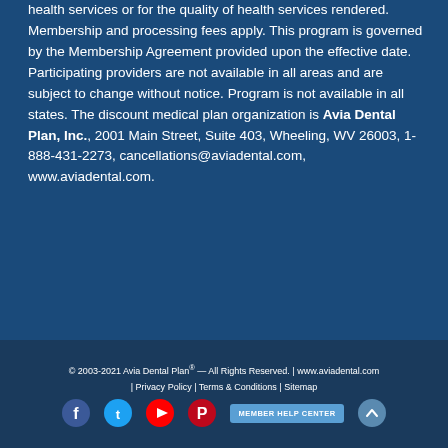health services or for the quality of health services rendered. Membership and processing fees apply. This program is governed by the Membership Agreement provided upon the effective date. Participating providers are not available in all areas and are subject to change without notice. Program is not available in all states. The discount medical plan organization is Avia Dental Plan, Inc., 2001 Main Street, Suite 403, Wheeling, WV 26003, 1-888-431-2273, cancellations@aviadental.com, www.aviadental.com.
© 2003-2021 Avia Dental Plan® — All Rights Reserved. | www.aviadental.com | Privacy Policy | Terms & Conditions | Sitemap